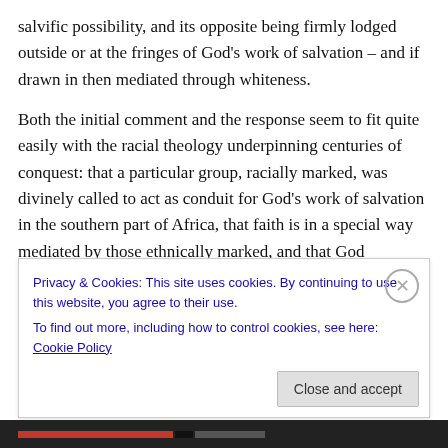salvific possibility, and its opposite being firmly lodged outside or at the fringes of God's work of salvation – and if drawn in then mediated through whiteness.
Both the initial comment and the response seem to fit quite easily with the racial theology underpinning centuries of conquest: that a particular group, racially marked, was divinely called to act as conduit for God's work of salvation in the southern part of Africa, that faith is in a special way mediated by those ethnically marked, and that God covenantal relations are ethnic and racial choices.
Privacy & Cookies: This site uses cookies. By continuing to use this website, you agree to their use.
To find out more, including how to control cookies, see here: Cookie Policy